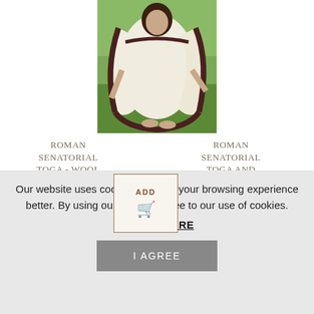[Figure (photo): Person wearing a white Roman senatorial toga with dark brown/maroon border trim, standing outdoors on grass]
ROMAN SENATORIAL TOGA - WOOL
$274.99
ROMAN SENATORIAL TOGA AND TUNIC COMBO - WOOL (CHEST SIZES (32-54"): 34 - 36 INCH)
$425.00
Our website uses cookies to make your browsing experience better. By using our site you agree to our use of cookies.
LEARN MORE
I AGREE